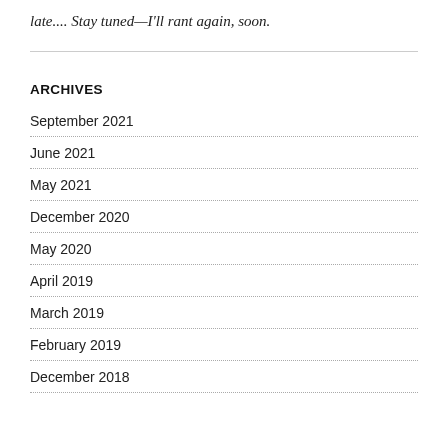late.... Stay tuned—I'll rant again, soon.
ARCHIVES
September 2021
June 2021
May 2021
December 2020
May 2020
April 2019
March 2019
February 2019
December 2018